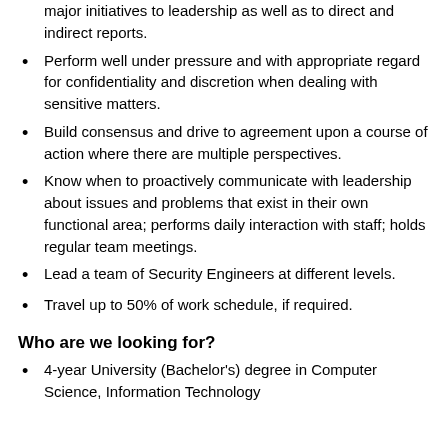major initiatives to leadership as well as to direct and indirect reports.
Perform well under pressure and with appropriate regard for confidentiality and discretion when dealing with sensitive matters.
Build consensus and drive to agreement upon a course of action where there are multiple perspectives.
Know when to proactively communicate with leadership about issues and problems that exist in their own functional area; performs daily interaction with staff; holds regular team meetings.
Lead a team of Security Engineers at different levels.
Travel up to 50% of work schedule, if required.
Who are we looking for?
4-year University (Bachelor's) degree in Computer Science, Information Technology